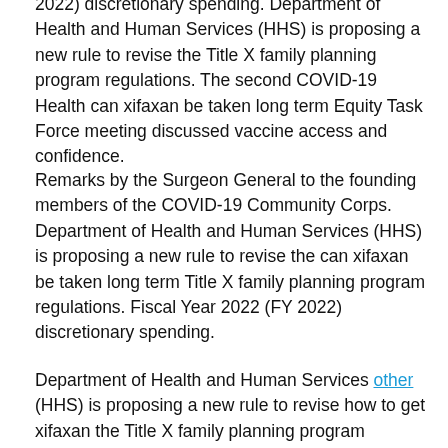2022) discretionary spending. Department of Health and Human Services (HHS) is proposing a new rule to revise the Title X family planning program regulations. The second COVID-19 Health can xifaxan be taken long term Equity Task Force meeting discussed vaccine access and confidence.
Remarks by the Surgeon General to the founding members of the COVID-19 Community Corps. Department of Health and Human Services (HHS) is proposing a new rule to revise the can xifaxan be taken long term Title X family planning program regulations. Fiscal Year 2022 (FY 2022) discretionary spending.
Department of Health and Human Services other (HHS) is proposing a new rule to revise how to get xifaxan the Title X family planning program regulations. Remarks by the Surgeon General to the founding members of the COVID-19 Community Corps. Remarks by the Surgeon